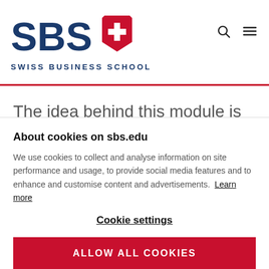[Figure (logo): SBS Swiss Business School logo with red cross shield emblem and blue SBS lettering]
The idea behind this module is to explore various ways in which information
About cookies on sbs.edu
We use cookies to collect and analyse information on site performance and usage, to provide social media features and to enhance and customise content and advertisements. Learn more
Cookie settings
ALLOW ALL COOKIES